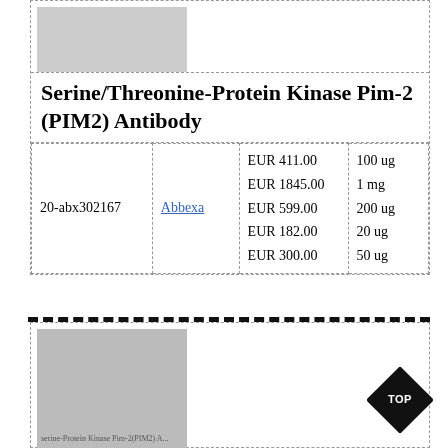[Figure (photo): Gray placeholder image for product]
Serine/Threonine-Protein Kinase Pim-2 (PIM2) Antibody
|  |  | Price | Size |
| --- | --- | --- | --- |
| 20-abx302167 | Abbexa | EUR 411.00
EUR 1845.00
EUR 599.00
EUR 182.00
EUR 300.00 | 100 ug
1 mg
200 ug
20 ug
50 ug |
[Figure (photo): Gray placeholder image for second product with label text]
Serine/Threonine-Protein Kinase Pim-2 (PIM2) Antibody